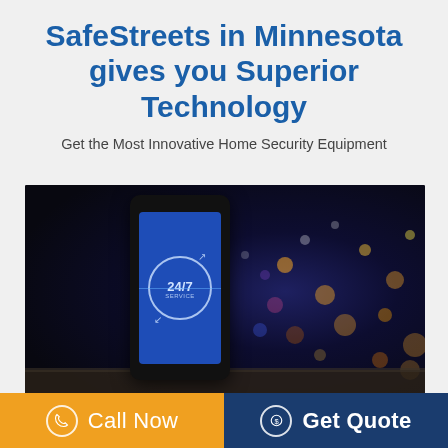SafeStreets in Minnesota gives you Superior Technology
Get the Most Innovative Home Security Equipment
[Figure (photo): Smartphone displaying 24/7 service icon on its screen, set against a dark night city bokeh background]
Call Now
Get Quote